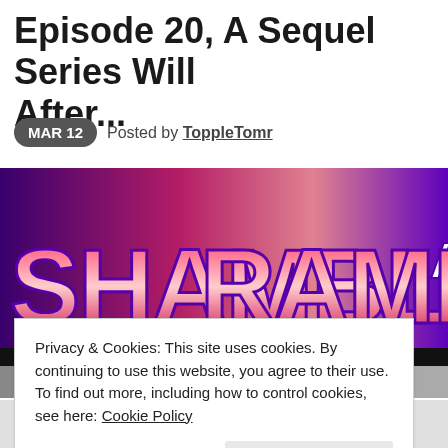Episode 20, A Sequel Series Will After...
MAR 12  Posted by ToppleTomr
[Figure (photo): Banner image for 'Shambles and Rambles' podcast/show with bold purple and pink/red lettering on gradient background, partially cut off on the right side]
Privacy & Cookies: This site uses cookies. By continuing to use this website, you agree to their use.
To find out more, including how to control cookies, see here: Cookie Policy
Close and accept